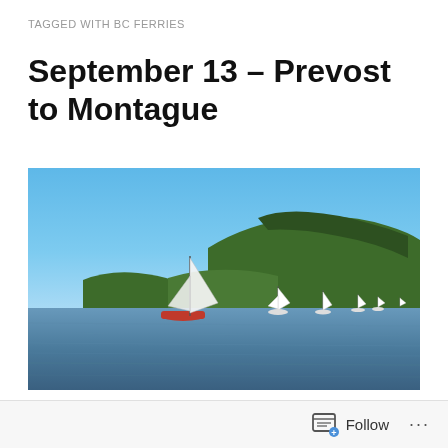TAGGED WITH BC FERRIES
September 13 – Prevost to Montague
[Figure (photo): Harbour scene with calm blue water, several sailboats including a red-hulled boat in the foreground, forested hills in the background under a clear blue sky.]
Follow ...